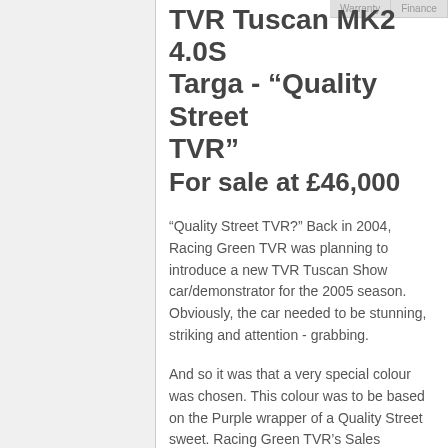TVR Tuscan MK2 4.0S Targa - "Quality Street TVR" For sale at £46,000
"Quality Street TVR?" Back in 2004, Racing Green TVR was planning to introduce a new TVR Tuscan Show car/demonstrator for the 2005 season. Obviously, the car needed to be stunning, striking and attention - grabbing.
And so it was that a very special colour was chosen. This colour was to be based on the Purple wrapper of a Quality Street sweet. Racing Green TVR's Sales Manager took such a